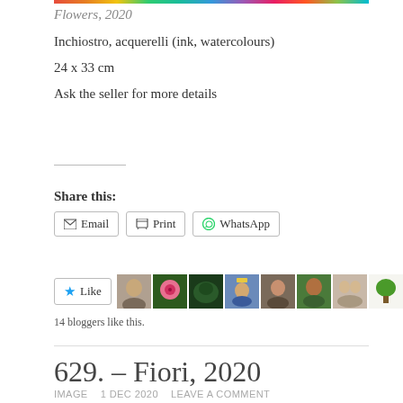Flowers, 2020
Inchiostro, acquerelli (ink, watercolours)
24 x 33 cm
Ask the seller for more details
Share this:
Email   Print   WhatsApp
[Figure (other): Like button with blogger avatar thumbnails row, showing 10 avatars; 14 bloggers like this.]
14 bloggers like this.
629. – Fiori, 2020
IMAGE   1 DEC 2020   LEAVE A COMMENT